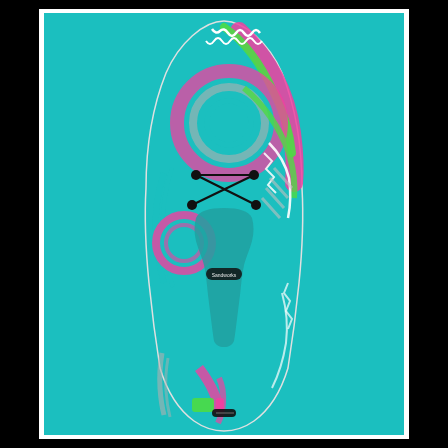[Figure (photo): Top-down view of a stand-up paddleboard (SUP) with colorful tribal/Aztec pattern in pink, green, teal, white, and gray. The board has a teal deck pad in the center, bungee cord rigging near the nose with four anchor points, and a small black handle/valve near the tail. The board is photographed against a bright teal background with a white inner border and black outer border.]